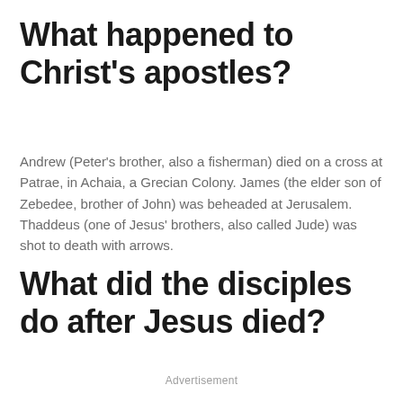What happened to Christ's apostles?
Andrew (Peter's brother, also a fisherman) died on a cross at Patrae, in Achaia, a Grecian Colony. James (the elder son of Zebedee, brother of John) was beheaded at Jerusalem. Thaddeus (one of Jesus' brothers, also called Jude) was shot to death with arrows.
What did the disciples do after Jesus died?
Advertisement